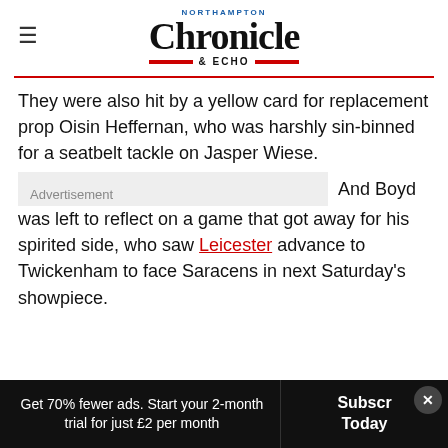NORTHAMPTON Chronicle & ECHO
They were also hit by a yellow card for replacement prop Oisin Heffernan, who was harshly sin-binned for a seatbelt tackle on Jasper Wiese.
And Boyd was left to reflect on a game that got away for his spirited side, who saw Leicester advance to Twickenham to face Saracens in next Saturday's showpiece.
Get 70% fewer ads. Start your 2-month trial for just £2 per month  Subscribe Today